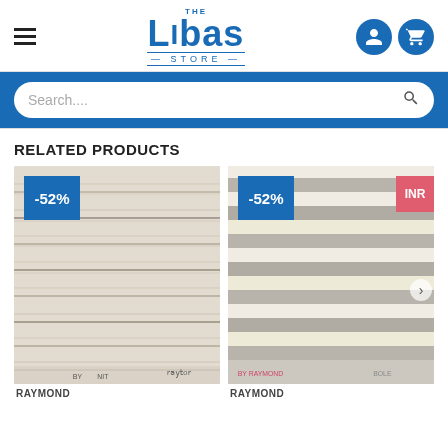[Figure (logo): The Libas Store logo in blue with hamburger menu and user/cart icons]
[Figure (screenshot): Blue search bar with rounded white search input field and search icon]
RELATED PRODUCTS
[Figure (photo): Raymond fabric product image with -52% discount badge in blue]
[Figure (photo): Raymond striped fabric product image with -52% discount badge and INR label]
RAYMOND
RAYMOND